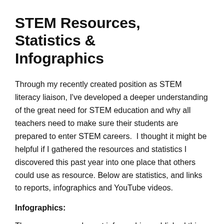STEM Resources, Statistics & Infographics
Through my recently created position as STEM literacy liaison, I've developed a deeper understanding of the great need for STEM education and why all teachers need to make sure their students are prepared to enter STEM careers.  I thought it might be helpful if I gathered the resources and statistics I discovered this past year into one place that others could use as resource. Below are statistics, and links to reports, infographics and YouTube videos.
Infographics:
There were several great infographics published this past